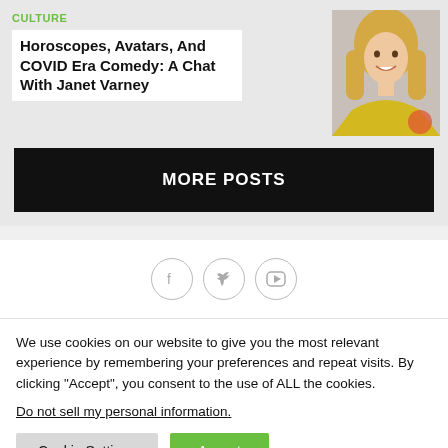CULTURE
Horoscopes, Avatars, And COVID Era Comedy: A Chat With Janet Varney
[Figure (photo): Photo of Janet Varney, a blonde woman smiling]
MORE POSTS
[Figure (infographic): Social media icons: Facebook, Twitter, YouTube in circles]
We use cookies on our website to give you the most relevant experience by remembering your preferences and repeat visits. By clicking “Accept”, you consent to the use of ALL the cookies.
Do not sell my personal information.
Cookie Settings
Accept